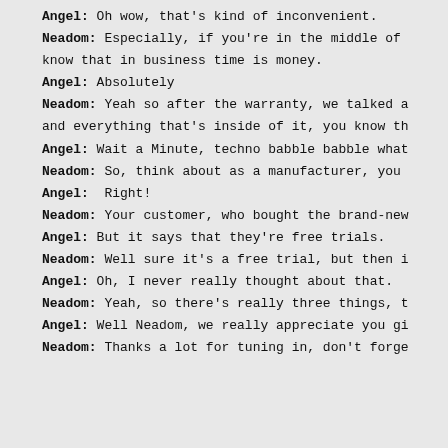Angel: Oh wow, that's kind of inconvenient.
Neadom: Especially, if you're in the middle of know that in business time is money.
Angel: Absolutely
Neadom: Yeah so after the warranty, we talked a and everything that's inside of it, you know th
Angel: Wait a Minute, techno babble babble what
Neadom: So, think about as a manufacturer, you
Angel: Right!
Neadom: Your customer, who bought the brand-new
Angel: But it says that they're free trials.
Neadom: Well sure it's a free trial, but then i
Angel: Oh, I never really thought about that.
Neadom: Yeah, so there's really three things, t
Angel: Well Neadom, we really appreciate you gi
Neadom: Thanks a lot for tuning in, don't forge